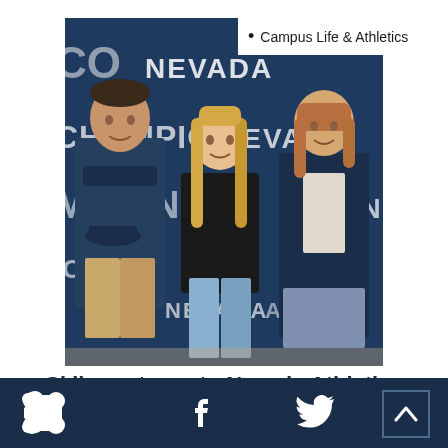• Campus Life & Athletics
[Figure (photo): Three people standing in front of a Nevada Athletics / Champion backdrop. Left: a man in a navy polo shirt holding a navy hat. Middle: a young blonde woman in a black shirt and jeans. Right: a woman in a navy blazer.]
Skiing returns to Nevada Athletics
> [Facebook icon] [Twitter icon] [Up arrow button]